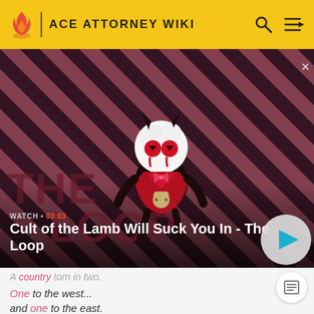ACE ATTORNEY WIKI
[Figure (screenshot): Video thumbnail showing a cartoon lamb character with horns and red eyes on a diagonal striped dark red/pink background. Text overlay reads WATCH 03:03 and title Cult of the Lamb Will Suck You In - The Loop with a play button.]
A country torn in two.
One to the west...
and one to the east.
When those which were split are made whole again...
...the truth will reveal itself.